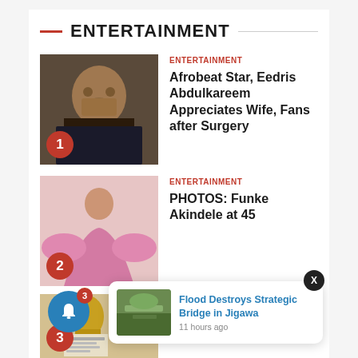ENTERTAINMENT
[Figure (photo): Photo of Afrobeat star Eedris Abdulkareem with badge number 1]
ENTERTAINMENT
Afrobeat Star, Eedris Abdulkareem Appreciates Wife, Fans after Surgery
[Figure (photo): Photo of Funke Akindele in a pink dress with wings, badge number 2]
ENTERTAINMENT
PHOTOS: Funke Akindele at 45
[Figure (photo): Partial photo showing Grammy certifications, badge number 3]
Grammy Certifications
[Figure (screenshot): Popup notification: Flood Destroys Strategic Bridge in Jigawa, 11 hours ago, with an X close button and a flood photo thumbnail]